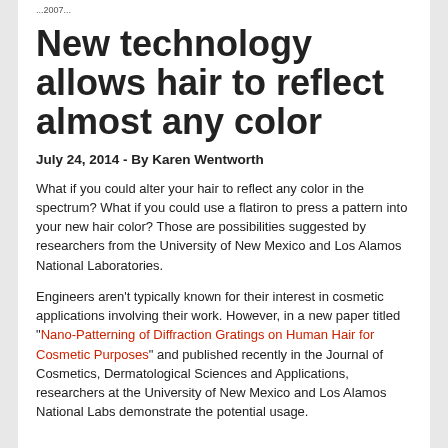...2007...
New technology allows hair to reflect almost any color
July 24, 2014 - By Karen Wentworth
What if you could alter your hair to reflect any color in the spectrum? What if you could use a flatiron to press a pattern into your new hair color? Those are possibilities suggested by researchers from the University of New Mexico and Los Alamos National Laboratories.
Engineers aren't typically known for their interest in cosmetic applications involving their work. However, in a new paper titled "Nano-Patterning of Diffraction Gratings on Human Hair for Cosmetic Purposes" and published recently in the Journal of Cosmetics, Dermatological Sciences and Applications, researchers at the University of New Mexico and Los Alamos National Labs demonstrate the potential usage.